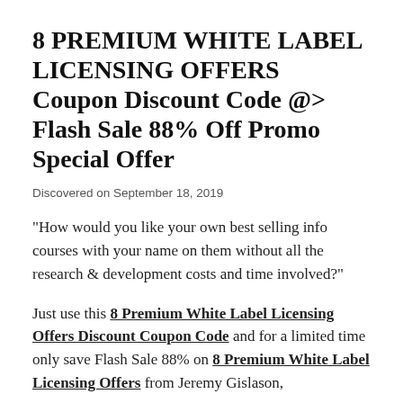8 PREMIUM WHITE LABEL LICENSING OFFERS Coupon Discount Code @> Flash Sale 88% Off Promo Special Offer
Discovered on September 18, 2019
"How would you like your own best selling info courses with your name on them without all the research & development costs and time involved?"
Just use this 8 Premium White Label Licensing Offers Discount Coupon Code and for a limited time only save Flash Sale 88% on 8 Premium White Label Licensing Offers from Jeremy Gislason,